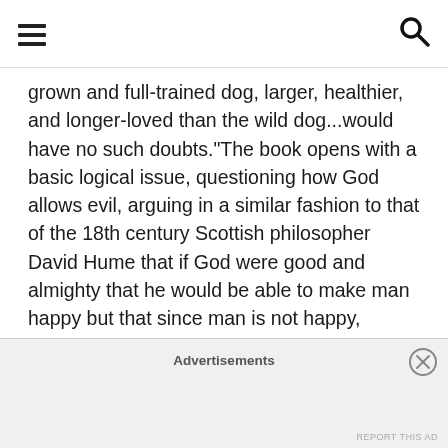[hamburger menu icon] [search icon]
grown and full-trained dog, larger, healthier, and longer-loved than the wild dog...would have no such doubts.“The book opens with a basic logical issue, questioning how God allows evil, arguing in a similar fashion to that of the 18th century Scottish philosopher David Hume that if God were good and almighty that he would be able to make man happy but that since man is not happy, “therefore God lacks either goodness, or power, or both.” One of the first major points made by Lewis is that evil is a natural byproduct of a world in which men have the a will to make decisions.
Advertisements